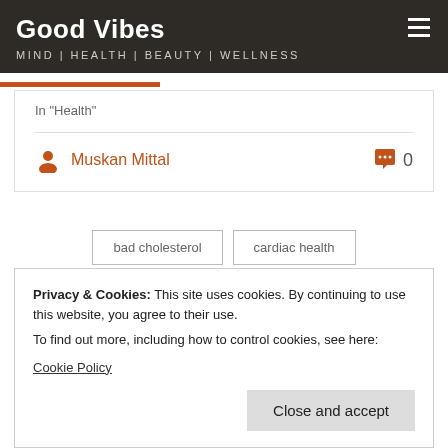Good Vibes
MIND | HEALTH | BEAUTY | WELLNESS
In "Health"
Muskan Mittal  0
bad cholesterol   cardiac health
Privacy & Cookies: This site uses cookies. By continuing to use this website, you agree to their use.
To find out more, including how to control cookies, see here:
Cookie Policy
Close and accept